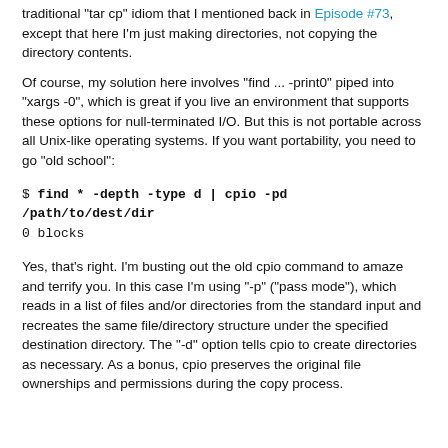traditional "tar cp" idiom that I mentioned back in Episode #73, except that here I'm just making directories, not copying the directory contents.
Of course, my solution here involves "find ... -print0" piped into "xargs -0", which is great if you live an environment that supports these options for null-terminated I/O. But this is not portable across all Unix-like operating systems. If you want portability, you need to go "old school":
$ find * -depth -type d | cpio -pd /path/to/dest/dir
0 blocks
Yes, that's right. I'm busting out the old cpio command to amaze and terrify you. In this case I'm using "-p" ("pass mode"), which reads in a list of files and/or directories from the standard input and recreates the same file/directory structure under the specified destination directory. The "-d" option tells cpio to create directories as necessary. As a bonus, cpio preserves the original file ownerships and permissions during the copy process.